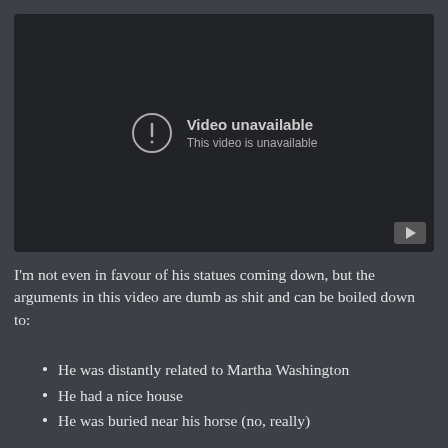[Figure (screenshot): YouTube-style video player showing 'Video unavailable - This video is unavailable' error message with a play button icon in the bottom-right corner.]
I'm not even in favour of his statues coming down, but the arguments in this video are dumb as shit and can be boiled down to:
He was distantly related to Martha Washington
He had a nice house
He was buried near his horse (no, really)